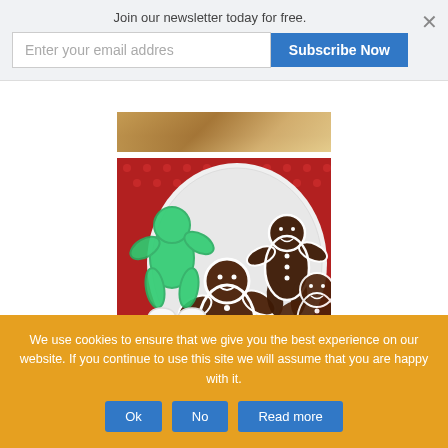Join our newsletter today for free.
[Figure (screenshot): Newsletter signup bar with email input field and Subscribe Now button, and a close X button]
[Figure (photo): Top partial photo of food items, partially visible]
[Figure (photo): Gingerbread man cookies decorated with white icing on a white plate, with a green gingerbread man cookie cutter and red polka dot background]
We use cookies to ensure that we give you the best experience on our website. If you continue to use this site we will assume that you are happy with it.